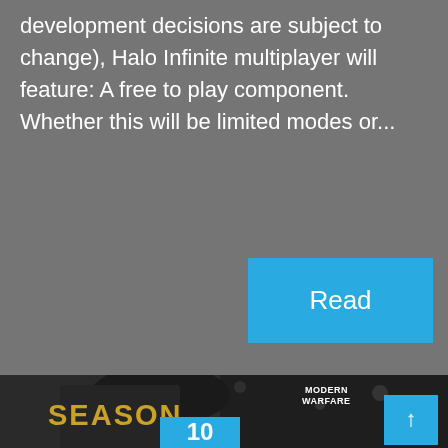development decisions are subject to change), Halo Infinite multiplayer will feature: A free to play component. Whether this will be limited modes or...
Read
[Figure (photo): Modern Warfare Season Two promotional image showing a masked soldier with a sniper rifle. Text reads MODERN WARFARE and SEASON TWO with a blue badge showing 10.]